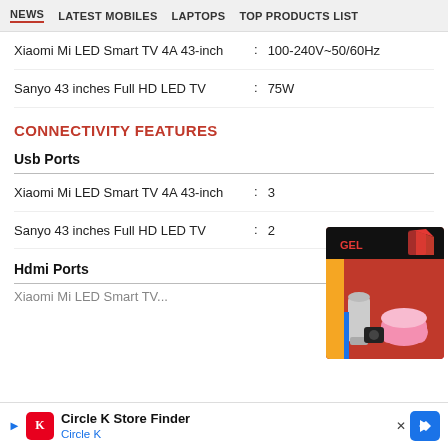NEWS  LATEST MOBILES  LAPTOPS  TOP PRODUCTS LIST
Xiaomi Mi LED Smart TV 4A 43-inch  :  100-240V~50/60Hz
Sanyo 43 inches Full HD LED TV  :  75W
CONNECTIVITY FEATURES
Usb Ports
Xiaomi Mi LED Smart TV 4A 43-inch  :  3
Sanyo 43 inches Full HD LED TV  :  2
Hdmi Ports
Xiaomi Mi LED Smart TV...
[Figure (photo): Product advertisement showing kitchen appliances (blender, rice cooker) in a red box packaging]
Circle K Store Finder — Circle K advertisement banner